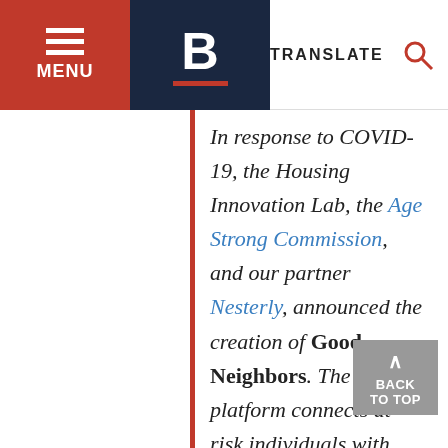MENU | B | TRANSLATE
In response to COVID-19, the Housing Innovation Lab, the Age Strong Commission, and our partner Nesterly, announced the creation of Good Neighbors. The platform connects at-risk individuals with volunteers to fulfill basic needs. These include deliveries and friendly check-ins.